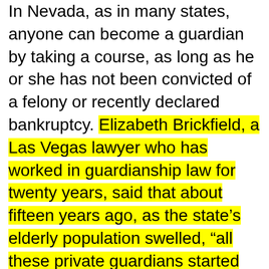In Nevada, as in many states, anyone can become a guardian by taking a course, as long as he or she has not been convicted of a felony or recently declared bankruptcy. Elizabeth Brickfield, a Las Vegas lawyer who has worked in guardianship law for twenty years, said that about fifteen years ago, as the state's elderly population swelled, “all these private guardians started arriving, and the docket exploded. The court became a factory.”
Pamela Teaster, the director of the Center for Gerontology at Virginia Tech and one of the few scholars in the country who study guardianship, told me that, though most guardians assume their duties for good reasons, the guardianship system is “a